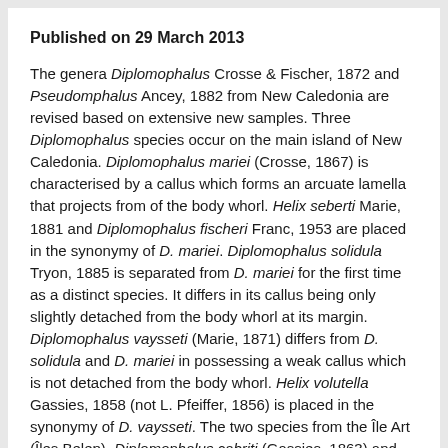Published on 29 March 2013
The genera Diplomophalus Crosse & Fischer, 1872 and Pseudomphalus Ancey, 1882 from New Caledonia are revised based on extensive new samples. Three Diplomophalus species occur on the main island of New Caledonia. Diplomophalus mariei (Crosse, 1867) is characterised by a callus which forms an arcuate lamella that projects from of the body whorl. Helix seberti Marie, 1881 and Diplomophalus fischeri Franc, 1953 are placed in the synonymy of D. mariei. Diplomophalus solidula Tryon, 1885 is separated from D. mariei for the first time as a distinct species. It differs in its callus being only slightly detached from the body whorl at its margin. Diplomophalus vaysseti (Marie, 1871) differs from D. solidula and D. mariei in possessing a weak callus which is not detached from the body whorl. Helix volutella Gassies, 1858 (not L. Pfeiffer, 1856) is placed in the synonymy of D. vaysseti. The two species from the Île Art (Îles Belep), Diplomophalus cabriti (Gassies, 1863) and Diplomophalus montrouzieri (Souverbie, 1858), differ from the species of the main island in their larger size. Relative to D. cabriti, D. montrouzieri is smaller and whitish without a brownish pattern and has weaker sculpture on the teleoconch. Pseudomphalus megei (Lambert, 1873) differs from the Diplomophalus species in its larger shell with rounded.